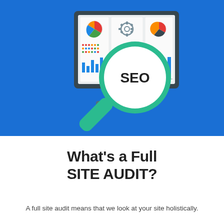[Figure (illustration): Blue background illustration of a computer monitor displaying analytics dashboards with charts and graphs, overlaid with a large magnifying glass showing the text 'SEO' in its lens, on a bright blue background.]
What's a Full SITE AUDIT?
A full site audit means that we look at your site holistically.